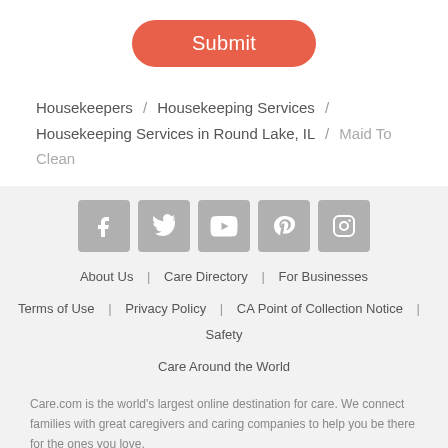Submit
Housekeepers / Housekeeping Services / Housekeeping Services in Round Lake, IL / Maid To Clean
[Figure (infographic): Social media icons: Facebook, Twitter, YouTube, Pinterest, Instagram]
About Us | Care Directory | For Businesses
Terms of Use | Privacy Policy | CA Point of Collection Notice | Safety
Care Around the World
Care.com is the world's largest online destination for care. We connect families with great caregivers and caring companies to help you be there for the ones you love.
Care.com does not employ, recommend or endorse any care provider or care seeker nor is it responsible for the conduct of any care provider or care seeker. Care.com